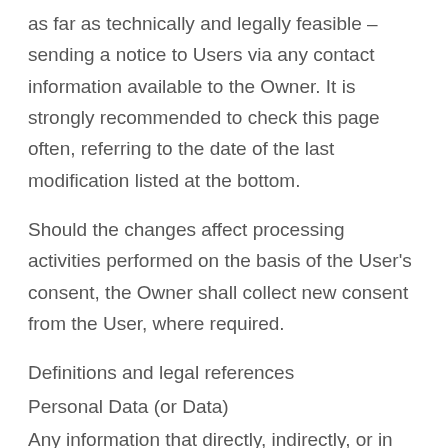as far as technically and legally feasible – sending a notice to Users via any contact information available to the Owner. It is strongly recommended to check this page often, referring to the date of the last modification listed at the bottom.
Should the changes affect processing activities performed on the basis of the User's consent, the Owner shall collect new consent from the User, where required.
Definitions and legal references
Personal Data (or Data)
Any information that directly, indirectly, or in connection with other information — including a